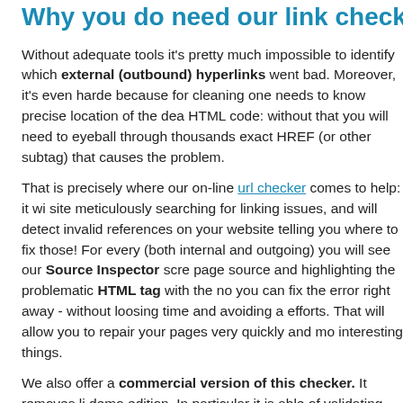Why you do need our link checker
Without adequate tools it's pretty much impossible to identify which external (outbound) hyperlinks went bad. Moreover, it's even harder because for cleaning one needs to know precise location of the dead link in HTML code: without that you will need to eyeball through thousands of lines of HTML, finding the exact HREF (or other subtag) that causes the problem.
That is precisely where our on-line url checker comes to help: it will crawl your site meticulously searching for linking issues, and will detect invalid links and image references on your website telling you where to fix those! For every link problem found (both internal and outgoing) you will see our Source Inspector screenshot of the page source and highlighting the problematic HTML tag with the noticed issue, so that you can fix the error right away - without loosing time and avoiding any unnecessary efforts. That will allow you to repair your pages very quickly and move on to more interesting things.
We also offer a commercial version of this checker. It removes limits of the free demo edition. In particular it is able of validating sites of any size (it's unlimited by default, but page limits can be set as high as you need), scan individual sub-directories (not only root with slashes), get results exported in Excel-friendly CSV format, and provides many more advanced features that help build better sites.